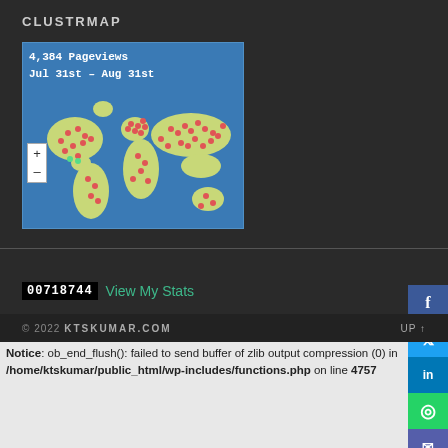CLUSTRMAP
[Figure (map): ClustrMap widget showing world map with visitor dots. Header reads '4,384 Pageviews Jul 31st – Aug 31st'. Blue background map with red and green visitor dots across continents. Zoom +/- controls on left side.]
00718744  View My Stats
© 2022 KTSKUMAR.COM    UP ↑
Notice: ob_end_flush(): failed to send buffer of zlib output compression (0) in /home/ktskumar/public_html/wp-includes/functions.php on line 4757